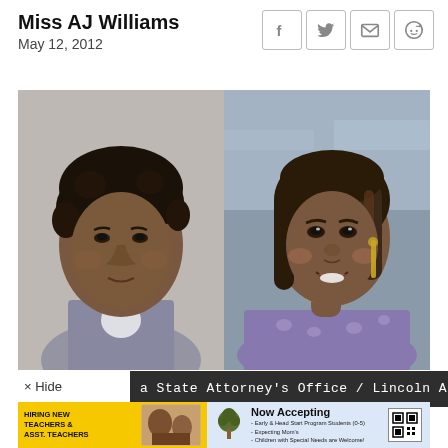Miss AJ Williams
May 12, 2012
[Figure (photo): Two side-by-side photos of a woman: left is a mugshot-style photo with plain background, right is a selfie-style photo of a smiling woman with earrings]
a State Attorney's Office / Lincoln Alexande
[Figure (infographic): Advertisement banner: left side yellow with 'HIRING NEW TEACHERS & ASST. TEACHERS', right side light blue with tree logo, 'Now Accepting' text, bullet points about Early & Head Start Program Students, Expecting Mom's, Children with Special Needs are Welcome, and a QR code]